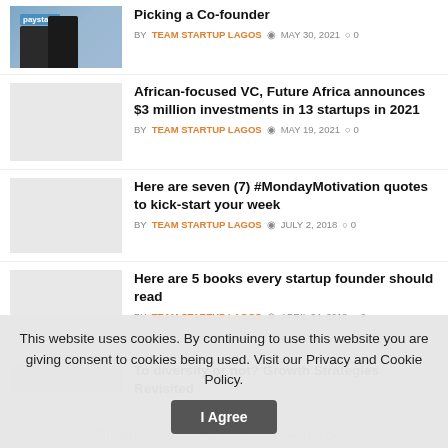Picking a Co-founder — BY TEAM STARTUP LAGOS, MAY 30, 2021, 0 comments
African-focused VC, Future Africa announces $3 million investments in 13 startups in 2021 — BY TEAM STARTUP LAGOS, MAY 19, 2021, 0 comments
Here are seven (7) #MondayMotivation quotes to kick-start your week — BY TEAM STARTUP LAGOS, JULY 2, 2018, 0 comments
Here are 5 books every startup founder should read — BY TEAM STARTUP LAGOS, APRIL 24, 2018, 0 comments
To diversify or not? Growth Strategies Revisited
This website uses cookies. By continuing to use this website you are giving consent to cookies being used. Visit our Privacy and Cookie Policy.
Building Data Driven Businesses – The best